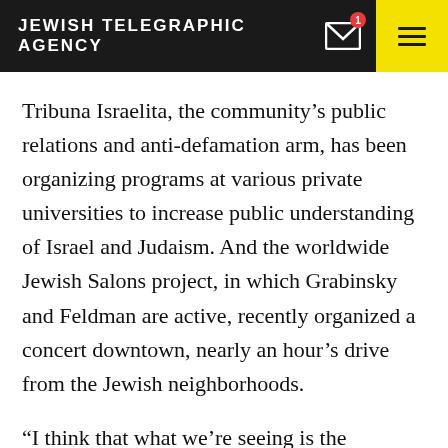JEWISH TELEGRAPHIC AGENCY
Tribuna Israelita, the community’s public relations and anti-defamation arm, has been organizing programs at various private universities to increase public understanding of Israel and Judaism. And the worldwide Jewish Salons project, in which Grabinsky and Feldman are active, recently organized a concert downtown, nearly an hour’s drive from the Jewish neighborhoods.
“I think that what we’re seeing is the reassessment of what it means to be Jewish, what it means to belong to a community,” Emilio Betech, the co-host of “El Aleph,”